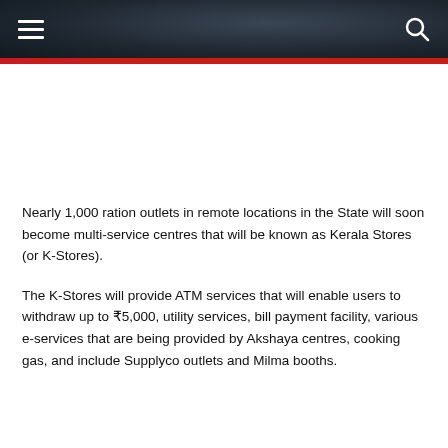Menu | Search
Nearly 1,000 ration outlets in remote locations in the State will soon become multi-service centres that will be known as Kerala Stores (or K-Stores).
The K-Stores will provide ATM services that will enable users to withdraw up to ₹5,000, utility services, bill payment facility, various e-services that are being provided by Akshaya centres, cooking gas, and include Supplyco outlets and Milma booths.